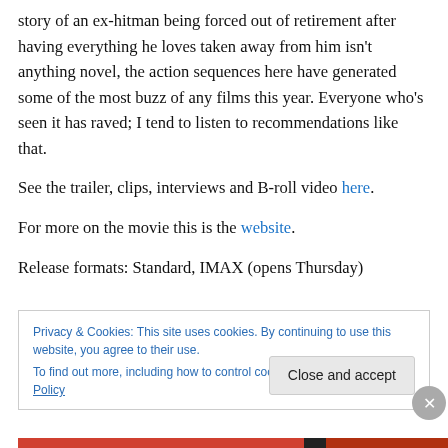story of an ex-hitman being forced out of retirement after having everything he loves taken away from him isn't anything novel, the action sequences here have generated some of the most buzz of any films this year. Everyone who's seen it has raved; I tend to listen to recommendations like that.
See the trailer, clips, interviews and B-roll video here.
For more on the movie this is the website.
Release formats: Standard, IMAX (opens Thursday)
Privacy & Cookies: This site uses cookies. By continuing to use this website, you agree to their use. To find out more, including how to control cookies, see here: Cookie Policy